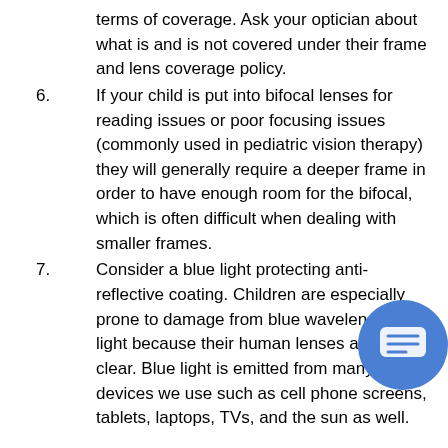terms of coverage. Ask your optician about what is and is not covered under their frame and lens coverage policy.
6. If your child is put into bifocal lenses for reading issues or poor focusing issues (commonly used in pediatric vision therapy) they will generally require a deeper frame in order to have enough room for the bifocal, which is often difficult when dealing with smaller frames.
7. Consider a blue light protecting anti-reflective coating. Children are especially prone to damage from blue wavelengths of light because their human lenses are so clear. Blue light is emitted from many of the devices we use such as cell phone screens, tablets, laptops, TVs, and the sun as well.
The great news is that the options in children's eyewear in terms of style, quality and innovation is progressing rapidly. Rather than dreading the eyewear shopping experience, have a positive attitude. This will have a positive influence on